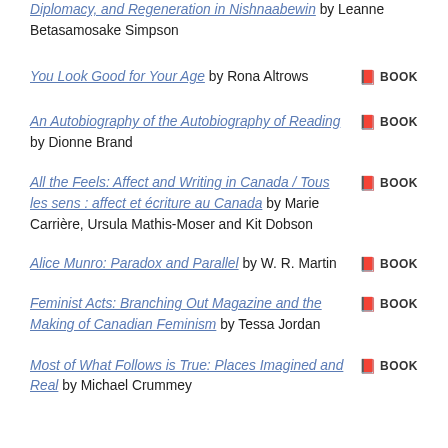Diplomacy, and Regeneration in Nishnaabewin by Leanne Betasamosake Simpson
You Look Good for Your Age by Rona Altrows — BOOK
An Autobiography of the Autobiography of Reading by Dionne Brand — BOOK
All the Feels: Affect and Writing in Canada / Tous les sens : affect et écriture au Canada by Marie Carrière, Ursula Mathis-Moser and Kit Dobson — BOOK
Alice Munro: Paradox and Parallel by W. R. Martin — BOOK
Feminist Acts: Branching Out Magazine and the Making of Canadian Feminism by Tessa Jordan — BOOK
Most of What Follows is True: Places Imagined and Real by Michael Crummey — BOOK